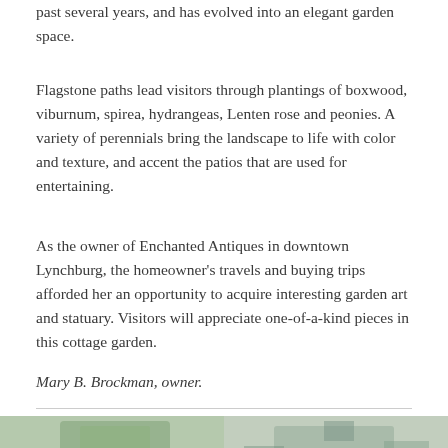past several years, and has evolved into an elegant garden space.
Flagstone paths lead visitors through plantings of boxwood, viburnum, spirea, hydrangeas, Lenten rose and peonies. A variety of perennials bring the landscape to life with color and texture, and accent the patios that are used for entertaining.
As the owner of Enchanted Antiques in downtown Lynchburg, the homeowner’s travels and buying trips afforded her an opportunity to acquire interesting garden art and statuary. Visitors will appreciate one-of-a-kind pieces in this cottage garden.
Mary B. Brockman, owner.
[Figure (photo): Two outdoor garden/house photos side by side below a horizontal rule]